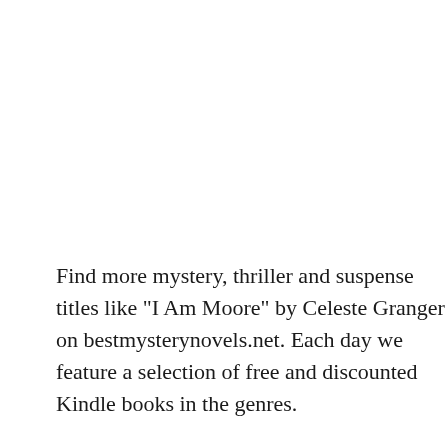Find more mystery, thriller and suspense titles like "I Am Moore" by Celeste Granger on bestmysterynovels.net. Each day we feature a selection of free and discounted Kindle books in the genres.
Disclaimer: The price of the book above was accurate upon the publication date of May 29th, 2020. However, Kindle book prices are subject to change at anytime